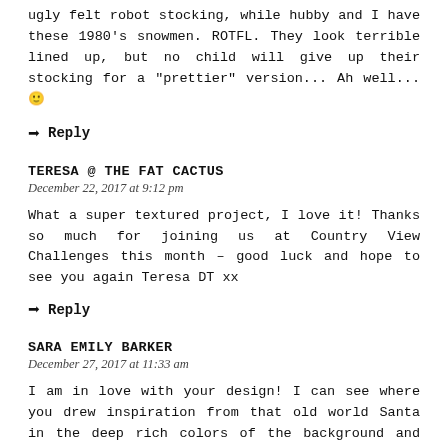ugly felt robot stocking, while hubby and I have these 1980's snowmen. ROTFL. They look terrible lined up, but no child will give up their stocking for a "prettier" version... Ah well... 🙂
→ Reply
TERESA @ THE FAT CACTUS
December 22, 2017 at 9:12 pm
What a super textured project, I love it! Thanks so much for joining us at Country View Challenges this month – good luck and hope to see you again Teresa DT xx
→ Reply
SARA EMILY BARKER
December 27, 2017 at 11:33 am
I am in love with your design! I can see where you drew inspiration from that old world Santa in the deep rich colors of the background and vintage lace! Love those baubles! What a treat to see this and your lovely photos.